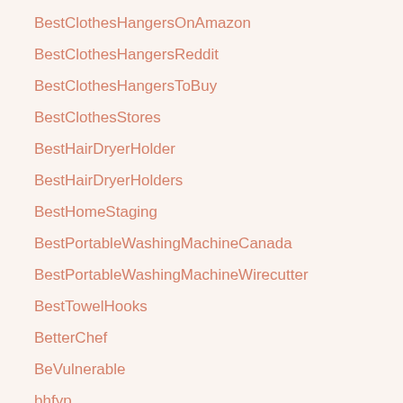BestClothesHangersOnAmazon
BestClothesHangersReddit
BestClothesHangersToBuy
BestClothesStores
BestHairDryerHolder
BestHairDryerHolders
BestHomeStaging
BestPortableWashingMachineCanada
BestPortableWashingMachineWirecutter
BestTowelHooks
BetterChef
BeVulnerable
bhfyp
bhgcelebrate
BigRedHouse